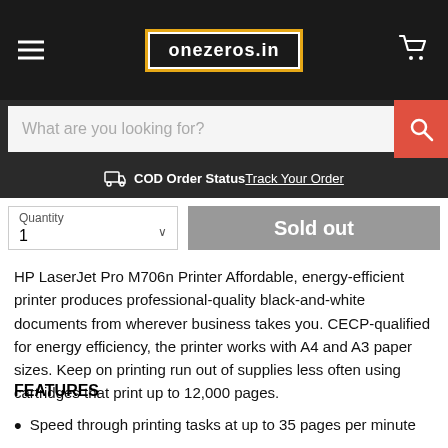onezeros.in
What are you looking for?
COD Order Status Track Your Order
Quantity 1
Sold out
HP LaserJet Pro M706n Printer Affordable, energy-efficient printer produces professional-quality black-and-white documents from wherever business takes you. CECP-qualified for energy efficiency, the printer works with A4 and A3 paper sizes. Keep on printing run out of supplies less often using cartridges that print up to 12,000 pages.
FEATURES
Speed through printing tasks at up to 35 pages per minute